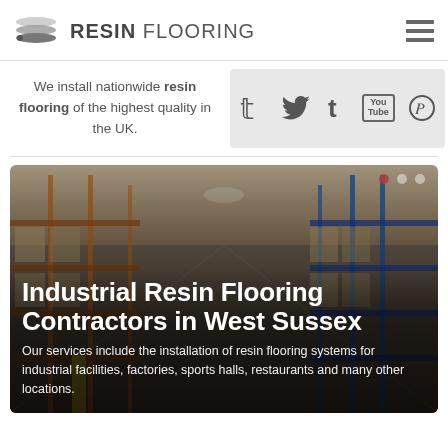[Figure (logo): Resin Flooring logo with stacked layer icon and brand name]
We install nationwide resin flooring of the highest quality in the UK.
[Figure (infographic): Social media icons: Twitter, Tumblr, YouTube, Pinterest on grey background]
[Figure (photo): Industrial warehouse interior with shelving racks, used as hero banner background]
Industrial Resin Flooring Contractors in West Sussex
Our services include the installation of resin flooring systems for industrial facilities, factories, sports halls, restaurants and many other locations.